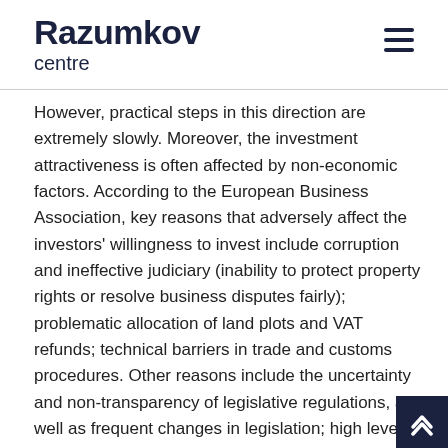Razumkov centre
However, practical steps in this direction are extremely slowly. Moreover, the investment attractiveness is often affected by non-economic factors. According to the European Business Association, key reasons that adversely affect the investors' willingness to invest include corruption and ineffective judiciary (inability to protect property rights or resolve business disputes fairly); problematic allocation of land plots and VAT refunds; technical barriers in trade and customs procedures. Other reasons include the uncertainty and non-transparency of legislative regulations, as well as frequent changes in legislation; high level of bureaucracy (the need to obtain large numbers of different permits); excessive authority of the control